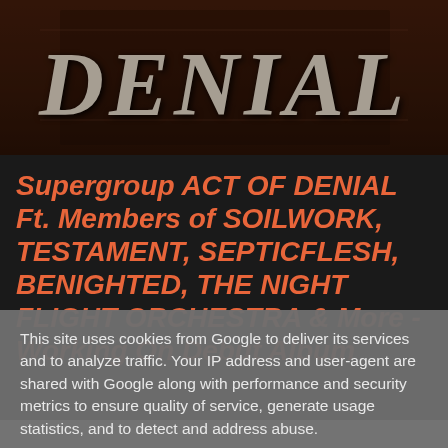[Figure (photo): Dark grunge-style band logo image reading 'DENIAL' in large distressed serif lettering against a dark reddish-brown textured background]
Supergroup ACT OF DENIAL Ft. Members of SOILWORK, TESTAMENT, SEPTICFLESH, BENIGHTED, THE NIGHT FLIGHT ORCHESTRA & More - Working On Debut Album
This site uses cookies from Google to deliver its services and to analyze traffic. Your IP address and user-agent are shared with Google along with performance and security metrics to ensure quality of service, generate usage statistics, and to detect and address abuse.
LEARN MORE    OK